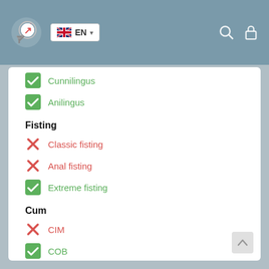EN language selector, search and lock icons
✓ Cunnilingus
✓ Anilingus
Fisting
✗ Classic fisting
✗ Anal fisting
✓ Extreme fisting
Cum
✗ CIM
✓ COB
✗ CIF
WS
✗ WS giving
✗ WS getting